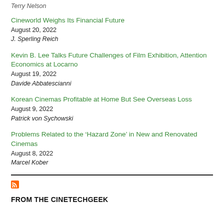Terry Nelson
Cineworld Weighs Its Financial Future
August 20, 2022
J. Sperling Reich
Kevin B. Lee Talks Future Challenges of Film Exhibition, Attention Economics at Locarno
August 19, 2022
Davide Abbatescianni
Korean Cinemas Profitable at Home But See Overseas Loss
August 9, 2022
Patrick von Sychowski
Problems Related to the ‘Hazard Zone’ in New and Renovated Cinemas
August 8, 2022
Marcel Kober
FROM THE CINETECHGEEK